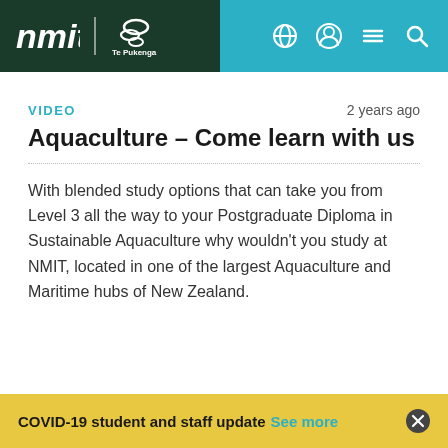nmit | Te Pukenga — navigation header with globe, user, menu, search icons
VIDEO    2 years ago
Aquaculture - Come learn with us
With blended study options that can take you from Level 3 all the way to your Postgraduate Diploma in Sustainable Aquaculture why wouldn't you study at NMIT, located in one of the largest Aquaculture and Maritime hubs of New Zealand.
COVID-19 student and staff update See more ✕